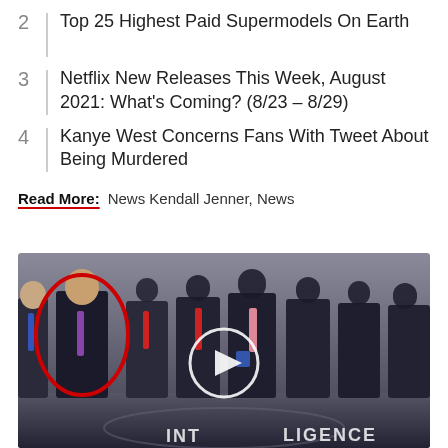2 | Top 25 Highest Paid Supermodels On Earth
3 | Netflix New Releases This Week, August 2021: What's Coming? (8/23 – 8/29)
4 | Kanye West Concerns Fans With Tweet About Being Murdered
Read More: News Kendall Jenner, News
[Figure (photo): Group photo of men in suits standing in a row, one man on the left highlighted with a red circle, a play button overlay in the center, and 'INTELLIGENCE' text visible on the floor in the foreground.]